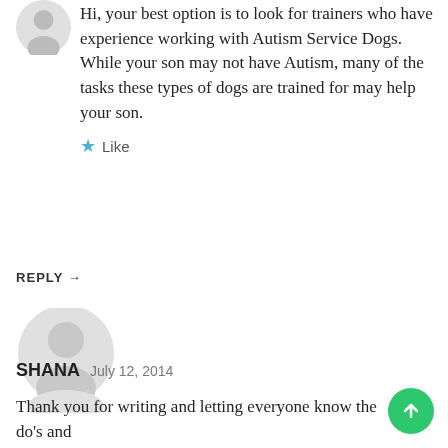Hi, your best option is to look for trainers who have experience working with Autism Service Dogs. While your son may not have Autism, many of the tasks these types of dogs are trained for may help your son.
Like
REPLY →
[Figure (illustration): Generic user avatar icon - gray circle with person silhouette]
SHANA  July 12, 2014
Thank you for writing and letting everyone know the do's and